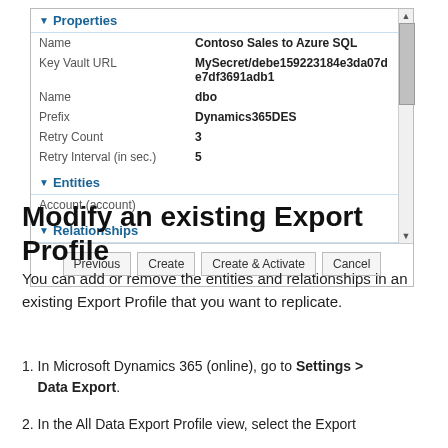[Figure (screenshot): A properties panel screenshot showing fields: Name (Contoso Sales to Azure SQL), Key Vault URL (MySecret/debe159223184e3da07de7df3691adb1), Name (dbo), Prefix (Dynamics365DES), Retry Count (3), Retry Interval in sec (5), Entities section with Account (account), Relationships section, and buttons: Previous, Create, Create & Activate, Cancel.]
Modify an existing Export Profile
You can add or remove the entities and relationships in an existing Export Profile that you want to replicate.
1. In Microsoft Dynamics 365 (online), go to Settings > Data Export.
2. In the All Data Export Profile view, select the Export